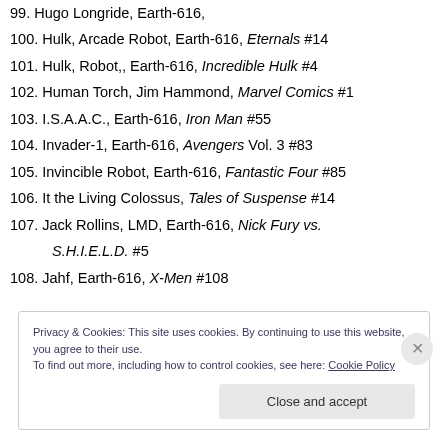99. Hugo Longride, Earth-616,
100. Hulk, Arcade Robot, Earth-616, Eternals #14
101. Hulk, Robot,, Earth-616, Incredible Hulk #4
102. Human Torch, Jim Hammond, Marvel Comics #1
103. I.S.A.A.C., Earth-616, Iron Man #55
104. Invader-1, Earth-616, Avengers Vol. 3 #83
105. Invincible Robot, Earth-616, Fantastic Four #85
106. It the Living Colossus, Tales of Suspense #14
107. Jack Rollins, LMD, Earth-616, Nick Fury vs. S.H.I.E.L.D. #5
108. Jahf, Earth-616, X-Men #108
Privacy & Cookies: This site uses cookies. By continuing to use this website, you agree to their use. To find out more, including how to control cookies, see here: Cookie Policy